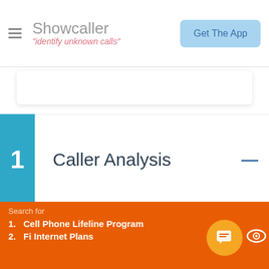Showcaller - "identify unknown calls" | Get The App
1  Caller Analysis
1.1 Suspicious activities detected
Data based on user reports from Showcaller - best unknown caller analysis app.
Search for
1. Cell Phone Lifeline Program
2. Fi Internet Plans